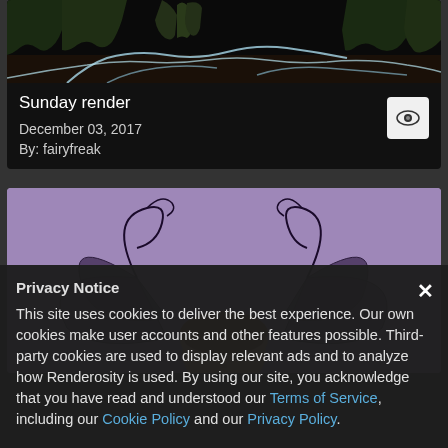[Figure (photo): Dark nature scene with glowing blue streams/roots and plant foliage on black background]
Sunday render
December 03, 2017
By: fairyfreak
[Figure (photo): Fairy character with butterfly wings against purple background, peeking up from bottom of frame]
Privacy Notice
This site uses cookies to deliver the best experience. Our own cookies make user accounts and other features possible. Third-party cookies are used to display relevant ads and to analyze how Renderosity is used. By using our site, you acknowledge that you have read and understood our Terms of Service, including our Cookie Policy and our Privacy Policy.